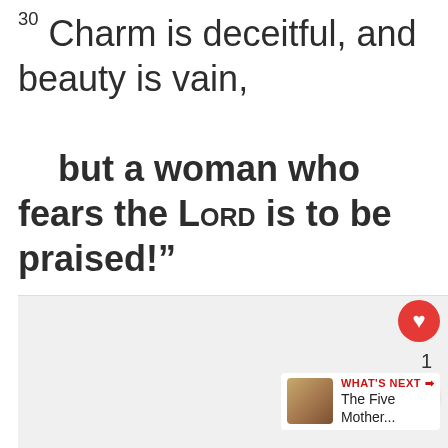30 Charm is deceitful, and beauty is vain, but a woman who fears the LORD is to be praised!”
[Figure (screenshot): App UI overlay showing a like button (heart icon, red circle), count of 1, share button, and a 'WHAT'S NEXT' recommendation card showing 'The Five Mother...' with a bread thumbnail image.]